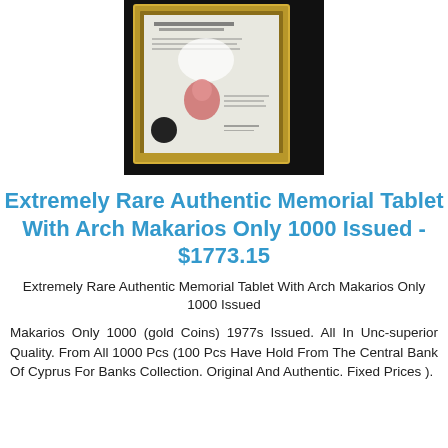[Figure (photo): A framed document/certificate with a gold frame displayed against a dark background. The document appears to be a memorial tablet certificate with text and a small image/portrait.]
Extremely Rare Authentic Memorial Tablet With Arch Makarios Only 1000 Issued - $1773.15
Extremely Rare Authentic Memorial Tablet With Arch Makarios Only 1000 Issued
Makarios Only 1000 (gold Coins) 1977s Issued. All In Unc-superior Quality. From All 1000 Pcs (100 Pcs Have Hold From The Central Bank Of Cyprus For Banks Collection. Original And Authentic. Fixed Prices ).